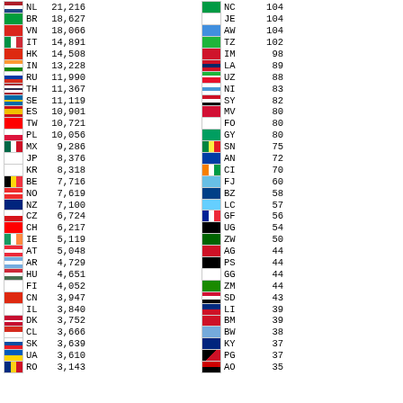| Flag | Code | Value | Flag | Code | Value |
| --- | --- | --- | --- | --- | --- |
| NL | 21,216 | NC | 104 |
| BR | 18,627 | JE | 104 |
| VN | 18,066 | AW | 104 |
| IT | 14,891 | TZ | 102 |
| HK | 14,508 | IM | 98 |
| IN | 13,228 | LA | 89 |
| RU | 11,990 | UZ | 88 |
| TH | 11,367 | NI | 83 |
| SE | 11,119 | SY | 82 |
| ES | 10,901 | MV | 80 |
| TW | 10,721 | FO | 80 |
| PL | 10,056 | GY | 80 |
| MX | 9,286 | SN | 75 |
| JP | 8,376 | AN | 72 |
| KR | 8,318 | CI | 70 |
| BE | 7,716 | FJ | 60 |
| NO | 7,619 | BZ | 58 |
| NZ | 7,100 | LC | 57 |
| CZ | 6,724 | GF | 56 |
| CH | 6,217 | UG | 54 |
| IE | 5,119 | ZW | 50 |
| AT | 5,048 | AG | 44 |
| AR | 4,729 | PS | 44 |
| HU | 4,651 | GG | 44 |
| FI | 4,052 | ZM | 44 |
| CN | 3,947 | SD | 43 |
| IL | 3,840 | LI | 39 |
| DK | 3,752 | BM | 39 |
| CL | 3,666 | BW | 38 |
| SK | 3,639 | KY | 37 |
| UA | 3,610 | PG | 37 |
| RO | 3,143 | AO | 35 |